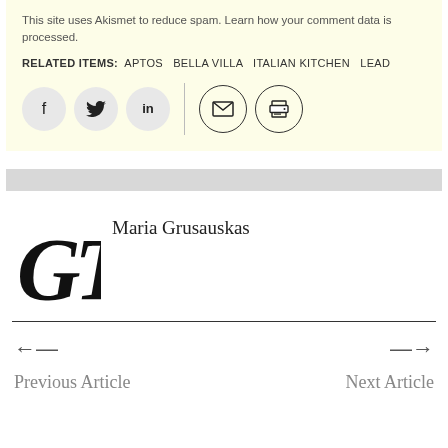This site uses Akismet to reduce spam. Learn how your comment data is processed.
RELATED ITEMS: APTOS BELLA VILLA ITALIAN KITCHEN LEAD
[Figure (other): Social sharing icons row: Facebook (f), Twitter (bird), LinkedIn (in), vertical divider, Email (envelope icon), Print (printer icon)]
[Figure (logo): GT monogram logo in decorative script]
Maria Grusauskas
← Previous Article
Next Article →